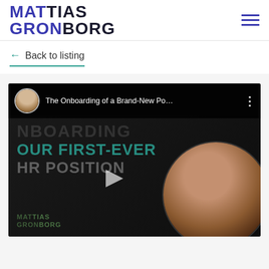MATTIAS GRONBORG
← Back to listing
[Figure (screenshot): YouTube video thumbnail showing 'The Onboarding of a Brand-New Po...' with overlay text 'NBOARDING OUR FIRST-EVER HR POSITION' in dark theme, with a person visible on the right side and the Mattias Gronborg logo in the bottom left. A play button is visible in the center.]